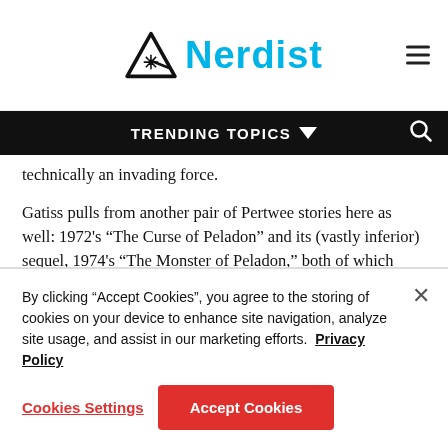Nerdist
TRENDING TOPICS
technically an invading force.
Gatiss pulls from another pair of Pertwee stories here as well: 1972's “The Curse of Peladon” and its (vastly inferior) sequel, 1974's “The Monster of Peladon,” both of which feature the Ice Warriors. (Alpha Centauri from this episode's finale also appears prominently in those stories.) Following their initial two stories in the late '60s,
By clicking “Accept Cookies”, you agree to the storing of cookies on your device to enhance site navigation, analyze site usage, and assist in our marketing efforts.  Privacy Policy
Cookies Settings
Accept Cookies